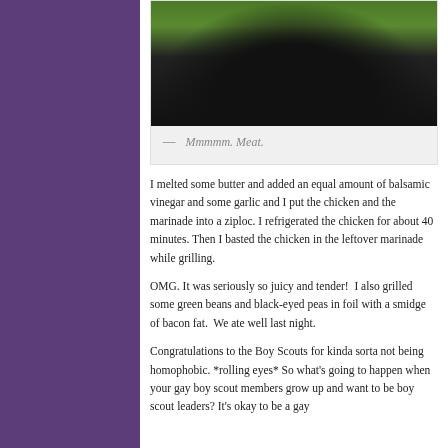[Figure (photo): Photo of a black charcoal grill/smoker outdoors with green foliage in background, orange/red accessories visible]
— Mmmmm. Meat.
I melted some butter and added an equal amount of balsamic vinegar and some garlic and I put the chicken and the marinade into a ziploc. I refrigerated the chicken for about 40 minutes. Then I basted the chicken in the leftover marinade while grilling.
OMG. It was seriously so juicy and tender!  I also grilled some green beans and black-eyed peas in foil with a smidge of bacon fat.  We ate well last night.
Congratulations to the Boy Scouts for kinda sorta not being homophobic. *rolling eyes* So what's going to happen when your gay boy scout members grow up and want to be boy scout leaders? It's okay to be a gay